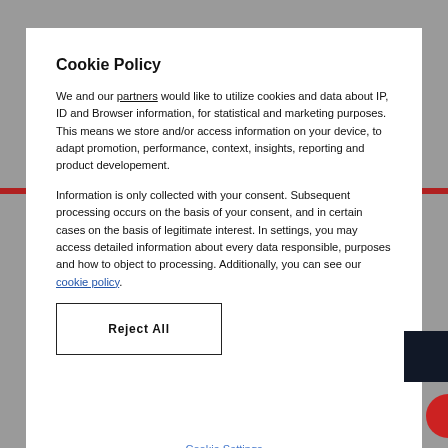Cookie Policy
We and our partners would like to utilize cookies and data about IP, ID and Browser information, for statistical and marketing purposes. This means we store and/or access information on your device, to adapt promotion, performance, context, insights, reporting and product developement.
Information is only collected with your consent. Subsequent processing occurs on the basis of your consent, and in certain cases on the basis of legitimate interest. In settings, you may access detailed information about every data responsible, purposes and how to object to processing. Additionally, you can see our cookie policy.
Reject All
OK
Cookie Settings